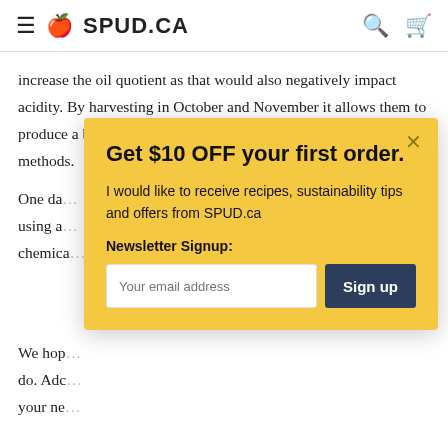SPUD.CA
increase the oil quotient as that would also negatively impact acidity. By harvesting in October and November it allows them to produce a beautiful low acidity oil using simple and natural methods.
One da... using a... chemica...
We hop... do. Adc... your ne...
[Figure (screenshot): Modal popup on SPUD.ca offering $10 off first order, with newsletter signup field and Sign up button on a yellow background.]